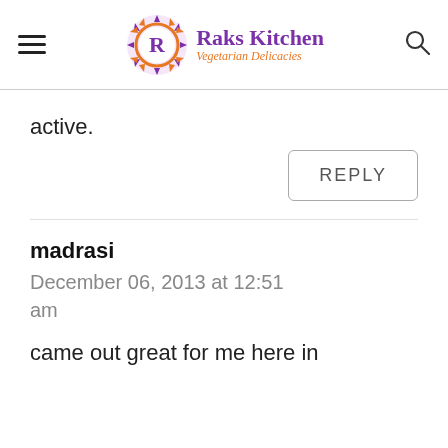Raks Kitchen — Vegetarian Delicacies
active.
REPLY
madrasi
December 06, 2013 at 12:51 am
came out great for me here in